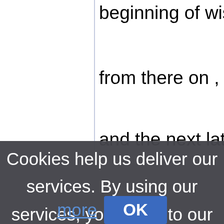beginning of wisdom" . S
from there on , pedestals
and the next latest thing
[Figure (screenshot): Cookie consent banner overlay with dark semi-transparent background. Text reads: 'Cookies help us deliver our services. By using our services, you agree to our use of cookies. Learn more' with an OK button.]